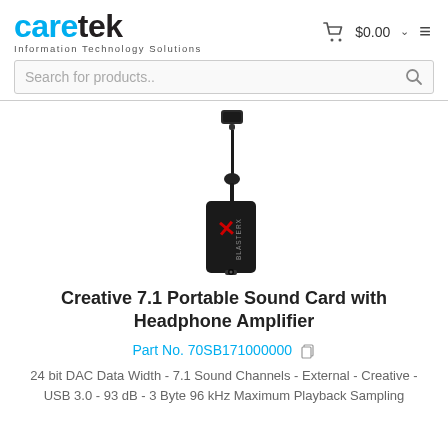caretek - Information Technology Solutions | $0.00
[Figure (photo): Creative Sound BlasterX G1 portable USB sound card with headphone amplifier, black device with red X logo and 3.5mm jack, connected via short USB cable to a USB-A plug]
Creative 7.1 Portable Sound Card with Headphone Amplifier
Part No. 70SB171000000
24 bit DAC Data Width - 7.1 Sound Channels - External - Creative - USB 3.0 - 93 dB - 3 Byte 96 kHz Maximum Playback Sampling